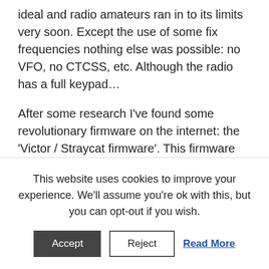ideal and radio amateurs ran in to its limits very soon. Except the use of some fix frequencies nothing else was possible: no VFO, no CTCSS, etc. Although the radio has a full keypad…
After some research I've found some revolutionary firmware on the internet: the 'Victor / Straycat firmware'. This firmware turns the Storno into a complete 2m FM amateur radio transceiver by offering operation through the keyboard. Frequencies can be entered, CTCSS and (for the specialist)
This website uses cookies to improve your experience. We'll assume you're ok with this, but you can opt-out if you wish.